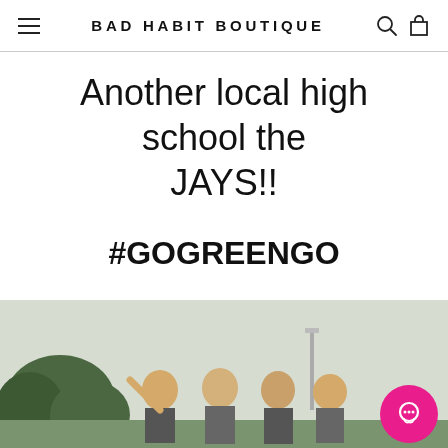BAD HABIT BOUTIQUE
Another local high school the JAYS!!
#GOGREENGO
[Figure (photo): Group of smiling young women outdoors on a sports field, posing cheerfully. Green trees and stadium lights visible in background.]